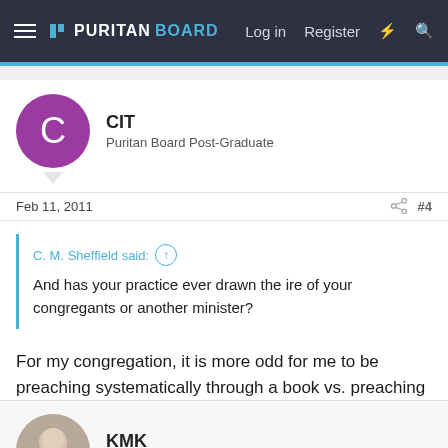PURITANBOARD — Log in  Register
CIT
Puritan Board Post-Graduate
Feb 11, 2011  #4
C. M. Sheffield said: ↑

And has your practice ever drawn the ire of your congregants or another minister?
For my congregation, it is more odd for me to be preaching systematically through a book vs. preaching topically.
KMK
Administrator  Staff member